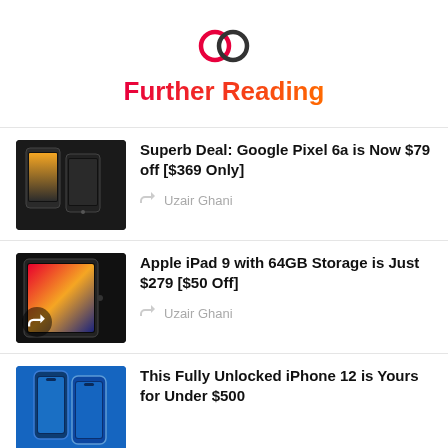[Figure (logo): Two overlapping circles icon in red and dark gray]
Further Reading
[Figure (photo): Google Pixel 6a phone thumbnail]
Superb Deal: Google Pixel 6a is Now $79 off [$369 Only]
Uzair Ghani
[Figure (photo): Apple iPad 9 tablet thumbnail]
Apple iPad 9 with 64GB Storage is Just $279 [$50 Off]
Uzair Ghani
[Figure (photo): iPhone 12 thumbnail]
This Fully Unlocked iPhone 12 is Yours for Under $500